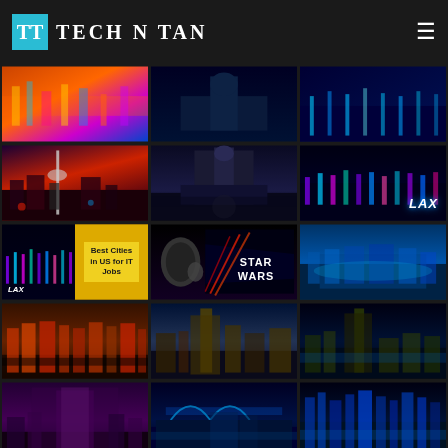[Figure (logo): Tech N Tan logo with cyan square icon and white text]
[Figure (photo): Grid of city and travel photos including Seattle skyline, US Capitol, LAX airport, Star Wars poster, Copenhagen, Hamburg, Cologne, Munich, Sydney, Hong Kong]